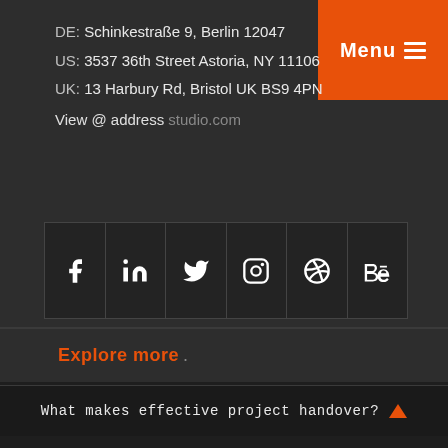DE:  Schinkestraße 9, Berlin 12047
US:  3537 36th Street Astoria, NY 11106
UK:  13 Harbury Rd, Bristol UK BS9 4PN
View @ address studio.com
Menu ≡
[Figure (infographic): Social media icons row: Facebook, LinkedIn, Twitter, Instagram, Dribbble, Behance]
Explore more .
What makes effective project handover? ▲
We use cookies on this site to improve performance. By browsering this site you are agreeing to this. For more information see our Privacy policy
I understand